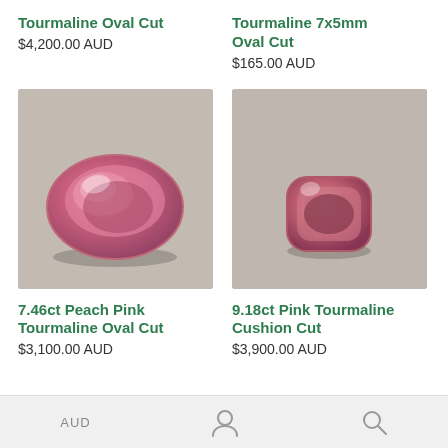Tourmaline Oval Cut
$4,200.00 AUD
Tourmaline 7x5mm Oval Cut
$165.00 AUD
[Figure (photo): Pink oval cut tourmaline gemstone on grey fabric background]
[Figure (photo): Pink cushion cut tourmaline gemstone on grey fabric background]
7.46ct Peach Pink Tourmaline Oval Cut
$3,100.00 AUD
9.18ct Pink Tourmaline Cushion Cut
$3,900.00 AUD
AUD